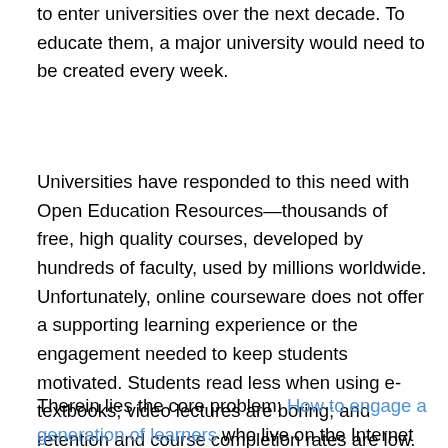to enter universities over the next decade. To educate them, a major university would need to be created every week.
Universities have responded to this need with Open Education Resources—thousands of free, high quality courses, developed by hundreds of faculty, used by millions worldwide. Unfortunately, online courseware does not offer a supporting learning experience or the engagement needed to keep students motivated. Students read less when using e-textbooks; video lectures are boring; and retention and course completion rates are low.
Therein lies the core problem: How to engage a generation of learners who live on the Internet yet tune out of school, who seek interaction on Facebook yet find none on iTunes U, who need community yet are only offered